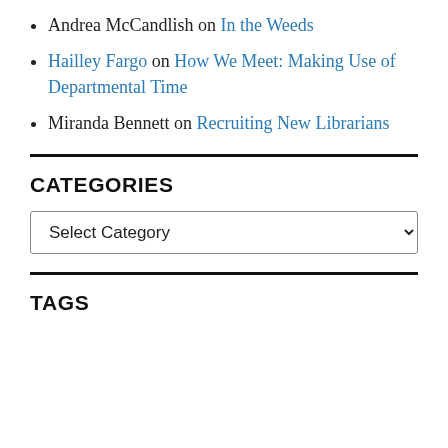Andrea McCandlish on In the Weeds
Hailley Fargo on How We Meet: Making Use of Departmental Time
Miranda Bennett on Recruiting New Librarians
CATEGORIES
Select Category (dropdown)
TAGS